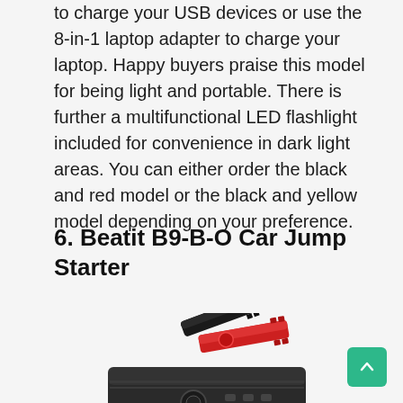to charge your USB devices or use the 8-in-1 laptop adapter to charge your laptop. Happy buyers praise this model for being light and portable. There is further a multifunctional LED flashlight included for convenience in dark light areas. You can either order the black and red model or the black and yellow model depending on your preference.
6. Beatit B9-B-O Car Jump Starter
[Figure (photo): Photo of a car jump starter device (Beatit B9-B-O) showing red and black battery clamps attached to a dark grey portable jump starter unit.]